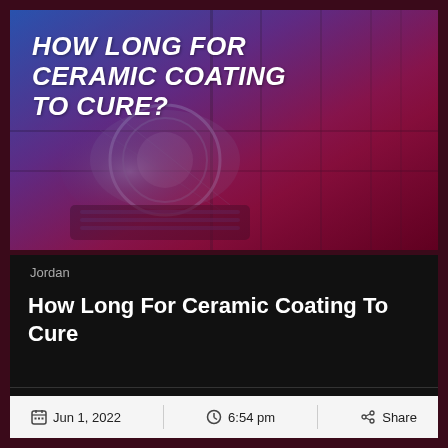[Figure (photo): A car headlight and body panel viewed from low angle with a purple/magenta color overlay gradient, serving as hero image background for the article.]
HOW LONG FOR CERAMIC COATING TO CURE?
Jordan
How Long For Ceramic Coating To Cure
Jun 1, 2022   6:54 pm   Share